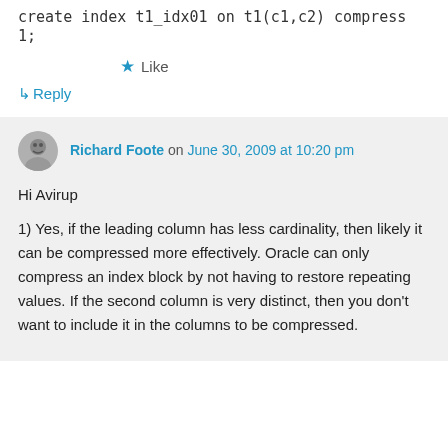create index t1_idx01 on t1(c1,c2) compress 1;
★ Like
↳ Reply
Richard Foote on June 30, 2009 at 10:20 pm
Hi Avirup
1) Yes, if the leading column has less cardinality, then likely it can be compressed more effectively. Oracle can only compress an index block by not having to restore repeating values. If the second column is very distinct, then you don't want to include it in the columns to be compressed.